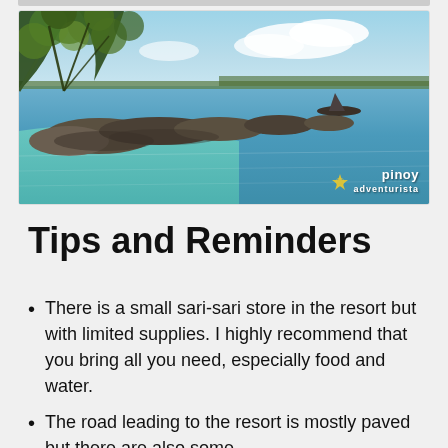[Figure (photo): Coastal scene with rocky shoreline, clear turquoise water, a boat in the distance, trees in the foreground, and blue sky with clouds. Watermark reads 'pinoy adventurista' in bottom right corner.]
Tips and Reminders
There is a small sari-sari store in the resort but with limited supplies. I highly recommend that you bring all you need, especially food and water.
The road leading to the resort is mostly paved but there are also some